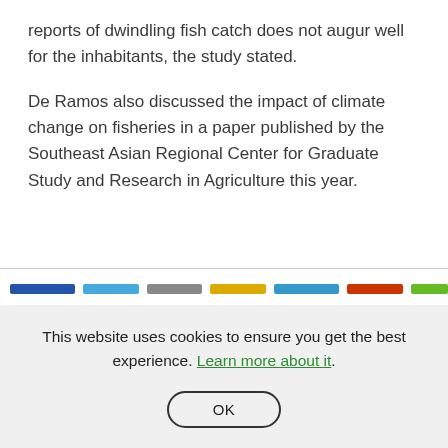reports of dwindling fish catch does not augur well for the inhabitants, the study stated.
De Ramos also discussed the impact of climate change on fisheries in a paper published by the Southeast Asian Regional Center for Graduate Study and Research in Agriculture this year.
[Figure (other): Horizontal colored bar segments (social media/share icons bar): dark blue, light blue, gray, yellow/gold, medium blue, red-orange, green]
This website uses cookies to ensure you get the best experience. Learn more about it.
OK